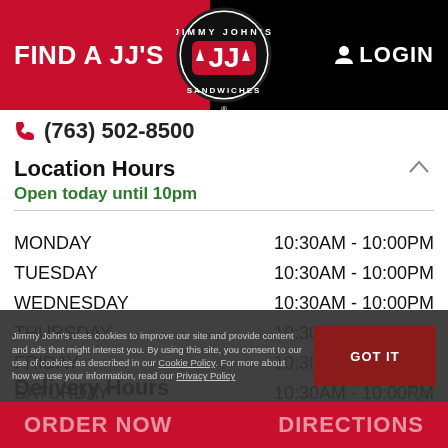FIND A JJ'S | LOGIN
(763) 502-8500
Location Hours
Open today until 10pm
| Day | Hours |
| --- | --- |
| MONDAY | 10:30AM - 10:00PM |
| TUESDAY | 10:30AM - 10:00PM |
| WEDNESDAY | 10:30AM - 10:00PM |
| THURSDAY | 10:30AM - 10:00PM |
| FRIDAY | 10:30AM - 10:00PM |
| SATURDAY | 10:30AM - 10:00PM |
| SUNDAY | 10:30AM - 10:00PM |
Delivery Hours
Delivering today until 9pm
Jimmy John's uses cookies to improve our site and provide content and ads that might interest you. By using this site, you consent to our use of cookies as described in our Cookie Policy. For more about how we use your information, read our Privacy Policy
ORDER NOW   DIRECTIONS